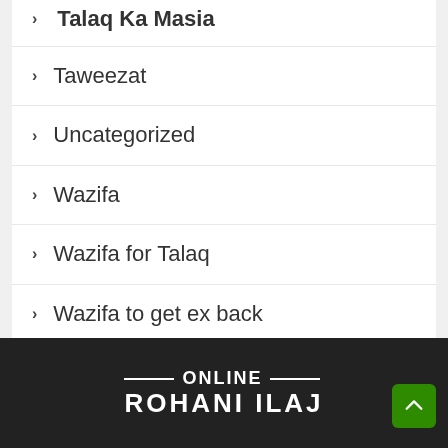Talaq Ka Masia
Taweezat
Uncategorized
Wazifa
Wazifa for Talaq
Wazifa to get ex back
ONLINE ROHANI ILAJ